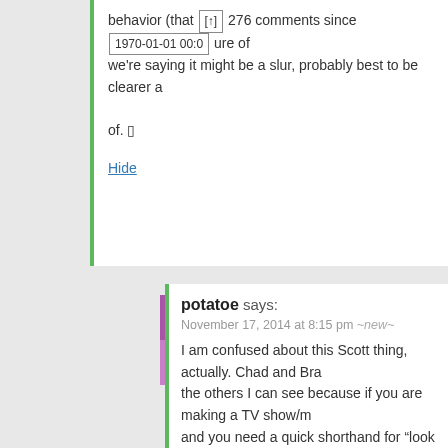behavior (that   276 comments since   1970-01-01 00:0   we're saying it might be a slur, probably best to be clearer a of. □
Hide
potatoe says:
November 17, 2014 at 8:15 pm ~new~
I am confused about this Scott thing, actually. Chad and Bra the others I can see because if you are making a TV show/m and you need a quick shorthand for “look at this fucking ass you name him Chad. But Scott seems like Mark, a name tha standard dude would have. It's easy to imagine the physical description of a Chad (backwards baseball hat, shorts, polo plays bad rap and dubstep, etc.) but a Scott? I’d probably sa you know, a standard guy. With, uh, hair? Yeah and … shoe likes music? idk.” I can't imagine a stereotype of Scott-ness. trying to explain this in concordance with my anecdotal expe by thinking that the mean douchebaggery of Chads is highe